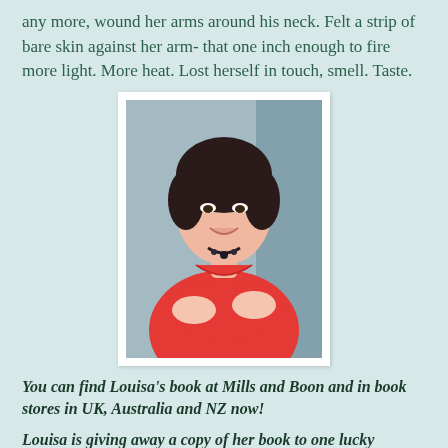any more, wound her arms around his neck. Felt a strip of bare skin against her arm- that one inch enough to fire more light. More heat. Lost herself in touch, smell. Taste.
[Figure (photo): Portrait photo of a woman with short dark hair wearing a red top and dark necklace, arms crossed, smiling, against a blurred background]
You can find Louisa's book at Mills and Boon and in book stores in UK, Australia and NZ now!
Louisa is giving away a copy of her book to one lucky commenter!  So her question to you is:  Poppy and Isaac have a number of flatmate rules they have to adhere to;